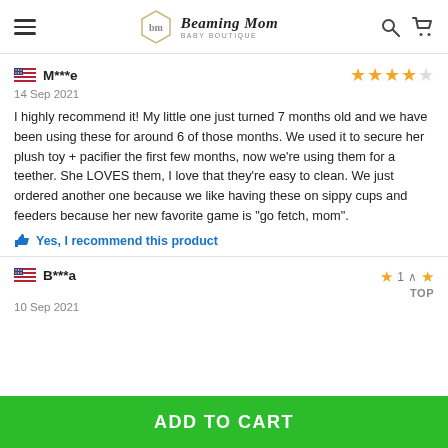Beaming Mom Baby Boutique
M***e — 14 Sep 2021 — 4 stars
I highly recommend it! My little one just turned 7 months old and we have been using these for around 6 of those months. We used it to secure her plush toy + pacifier the first few months, now we're using them for a teether. She LOVES them, I love that they're easy to clean. We just ordered another one because we like having these on sippy cups and feeders because her new favorite game is "go fetch, mom".
Yes, I recommend this product
B***a — 10 Sep 2021 — 1 star — TOP